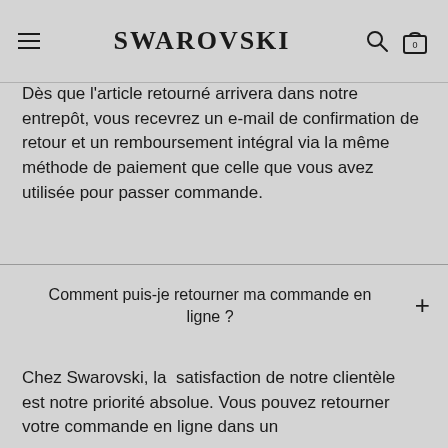SWAROVSKI
partenaire de livraison renverra gratuitement le colis à notre entrepôt.
Dès que l'article retourné arrivera dans notre entrepôt, vous recevrez un e-mail de confirmation de retour et un remboursement intégral via la même méthode de paiement que celle que vous avez utilisée pour passer commande.
Comment puis-je retourner ma commande en ligne ?
Chez Swarovski, la satisfaction de notre clientèle est notre priorité absolue. Vous pouvez retourner votre commande en ligne dans un